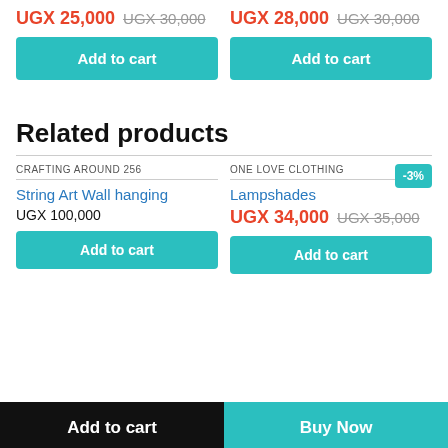Designer Bottle — UGX 25,000 (was UGX 30,000)
Designer Bottle — UGX 28,000 (was UGX 30,000)
Add to cart
Add to cart
Related products
CRAFTING AROUND 256
ONE LOVE CLOTHING
-3%
String Art Wall hanging
Lampshades
UGX 100,000
UGX 34,000  UGX 35,000
Add to cart
Add to cart
Add to cart
Buy Now